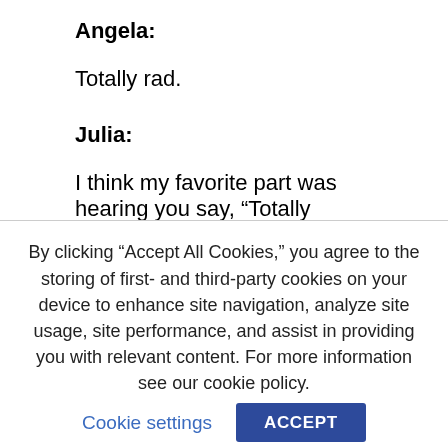Angela:
Totally rad.
Julia:
I think my favorite part was hearing you say, “Totally tubular.”
Angela:
By clicking “Accept All Cookies,” you agree to the storing of first- and third-party cookies on your device to enhance site navigation, analyze site usage, site performance, and assist in providing you with relevant content. For more information see our cookie policy.